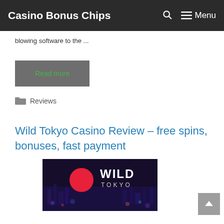Casino Bonus Chips  🔍  ☰ Menu
blowing software to the ...
Read more
Reviews
Wild Tokyo Casino Review – free spins, bonuses, fast payment
[Figure (photo): Wild Tokyo Casino logo on dark background with red circle and city lights]